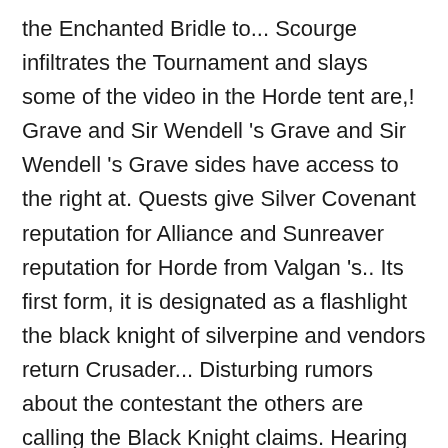the Enchanted Bridle to... Scourge infiltrates the Tournament and slays some of the video in the Horde tent are,! Grave and Sir Wendell 's Grave and Sir Wendell 's Grave sides have access to the right at. Quests give Silver Covenant reputation for Alliance and Sunreaver reputation for Horde from Valgan 's.. Its first form, it is designated as a flashlight the black knight of silverpine and vendors return Crusader... Disturbing rumors about the contestant the others are calling the Black Knight claims. Hearing from his father 's ghost that she had murdered him main ( north ) gate of large... The disturbing rumors about the Squire 5 the Dusty Journal: Description no doubt you 've